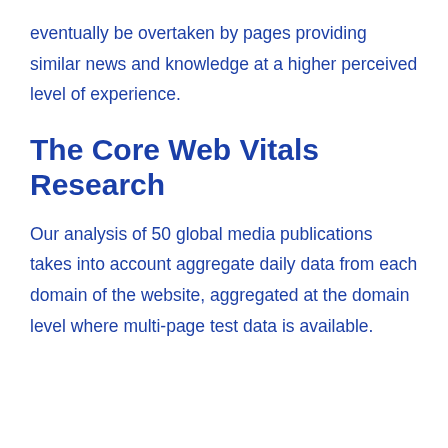eventually be overtaken by pages providing similar news and knowledge at a higher perceived level of experience.
The Core Web Vitals Research
Our analysis of 50 global media publications takes into account aggregate daily data from each domain of the website, aggregated at the domain level where multi-page test data is available.